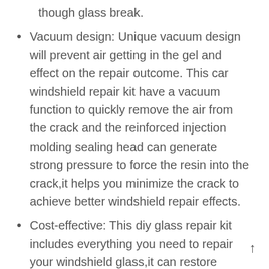though glass break.
Vacuum design: Unique vacuum design will prevent air getting in the gel and effect on the repair outcome. This car windshield repair kit have a vacuum function to quickly remove the air from the crack and the reinforced injection molding sealing head can generate strong pressure to force the resin into the crack,it helps you minimize the crack to achieve better windshield repair effects.
Cost-effective: This diy glass repair kit includes everything you need to repair your windshield glass,it can restore windshield to about 90% optical clarity.A economic choice to save your time and money to prevents damage from spreading.